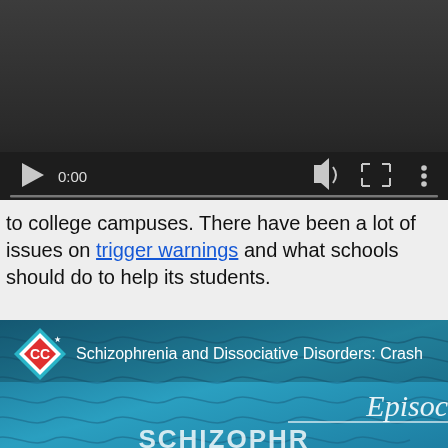[Figure (screenshot): Video player showing paused state at 0:00 with dark background, play button, time display, progress bar, volume, fullscreen, and more options icons]
to college campuses. There have been a lot of issues on trigger warnings and what schools should do to help its students.
[Figure (screenshot): Thumbnail for 'Schizophrenia and Dissociative Disorders: Crash Course Psychology' video with CC logo, teal wavy background, italic 'Episode' text, and partial 'SCHIZOPHRENIA' text at bottom]